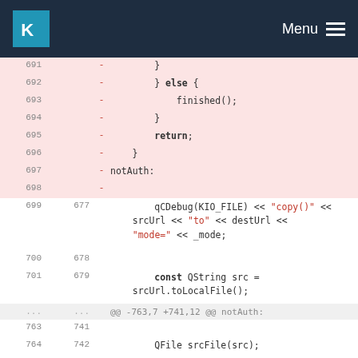KDE Menu
[Figure (screenshot): Code diff view showing lines 691-698 (removed, pink background) and lines 699-765+ (normal background). Removed lines show } else { finished(); } return; } notAuth: sections. Normal lines show qCDebug(KIO_FILE) << "copy()" << srcUrl << "to" << destUrl << "mode=" << _mode; const QString src = srcUrl.toLocalFile(); QFile srcFile(src); if (!srcFile.open(QIODevice::ReadOnly)) {]